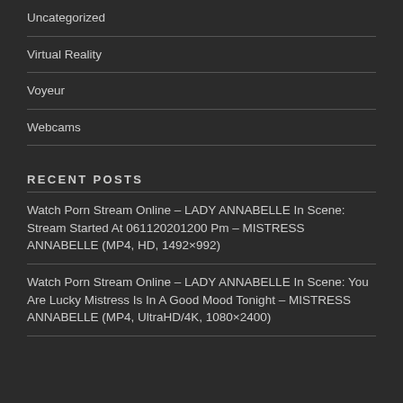Uncategorized
Virtual Reality
Voyeur
Webcams
RECENT POSTS
Watch Porn Stream Online – LADY ANNABELLE In Scene: Stream Started At 061120201200 Pm – MISTRESS ANNABELLE (MP4, HD, 1492×992)
Watch Porn Stream Online – LADY ANNABELLE In Scene: You Are Lucky Mistress Is In A Good Mood Tonight – MISTRESS ANNABELLE (MP4, UltraHD/4K, 1080×2400)